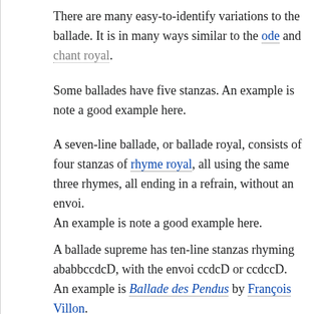There are many easy-to-identify variations to the ballade. It is in many ways similar to the ode and chant royal.
Some ballades have five stanzas. An example is note a good example here.
A seven-line ballade, or ballade royal, consists of four stanzas of rhyme royal, all using the same three rhymes, all ending in a refrain, without an envoi. An example is note a good example here.
A ballade supreme has ten-line stanzas rhyming ababbccdcD, with the envoi ccdcD or ccdccD. An example is Ballade des Pendus by François Villon.